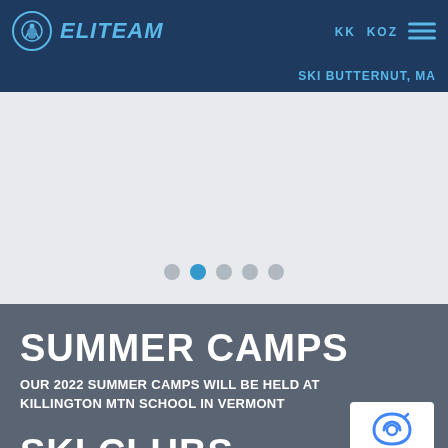ELITEAM | KK KOZ | SKI BUTTERNUT, MA
[Figure (screenshot): Carousel navigation dots, second dot active (blue), on light gray background]
SUMMER CAMPS
OUR 2022 SUMMER CAMPS WILL BE HELD AT KILLINGTON MTN SCHOOL IN VERMONT
SKI CLUBS